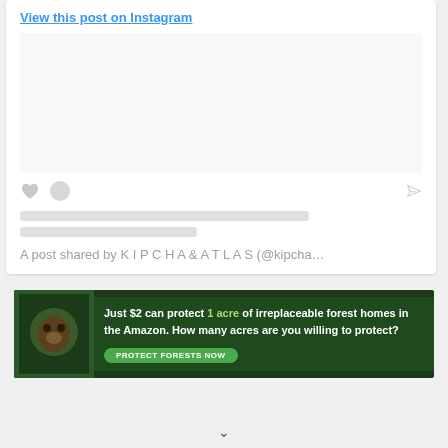View this post on Instagram
A post shared by K I P C H A & A T L A S (@kipcha…)
[Figure (screenshot): Instagram embedded post card with placeholder image, heart and comment icons, loading bar placeholders, and attribution text]
[Figure (photo): Advertisement banner with dark green background, sloth image on left, text: Just $2 can protect 1 acre of irreplaceable forest homes in the Amazon. How many acres are you willing to protect? with a green PROTECT FORESTS NOW button]